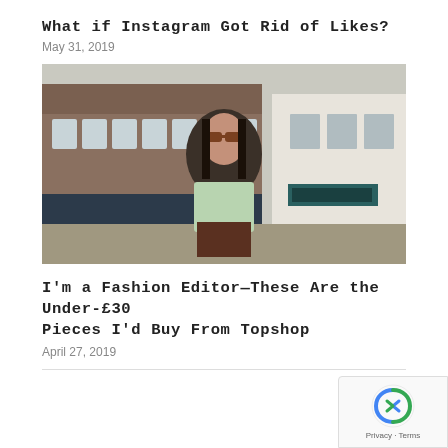What if Instagram Got Rid of Likes?
May 31, 2019
[Figure (photo): A young woman with long dark hair and sunglasses wearing a light green t-shirt and dark skirt standing on a street with shops in the background]
I'm a Fashion Editor—These Are the Under-£30 Pieces I'd Buy From Topshop
April 27, 2019